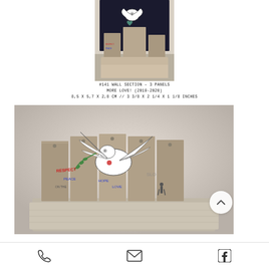[Figure (photo): Close-up photo of a small Banksy 'More Love' wall section sculpture with 3 panels showing a dove with heart, concrete texture, viewed from slightly above]
#141 WALL SECTION – 3 PANELS
MORE LOVE! (2019-2020)
8,5 X 5,7 X 2,8 CM // 3 3/8 X 2 1/4 X 1 1/8 INCHES
[Figure (photo): Full front view of Banksy 'More Love' 5-panel wall section sculpture on concrete base, featuring a dove with olive branch painted in black and white, with graffiti-style text reading 'RESPECT', 'PEACE', 'HOPE', 'LOVE', and a small figure at the bottom right]
Phone | Email | Facebook